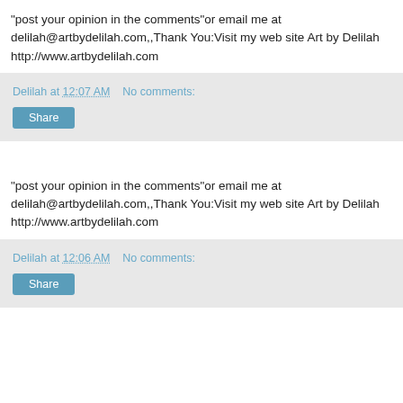"post your opinion in the comments"or email me at delilah@artbydelilah.com,,Thank You:Visit my web site Art by Delilah http://www.artbydelilah.com
Delilah at 12:07 AM   No comments:
Share
"post your opinion in the comments"or email me at delilah@artbydelilah.com,,Thank You:Visit my web site Art by Delilah http://www.artbydelilah.com
Delilah at 12:06 AM   No comments:
Share